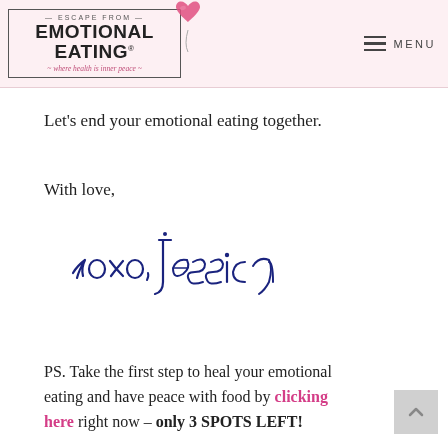Escape From Emotional Eating® — where health is inner peace — MENU
Let's end your emotional eating together.
With love,
[Figure (illustration): Handwritten cursive signature reading 'xoxo, Jessica' in dark navy/blue ink]
PS. Take the first step to heal your emotional eating and have peace with food by clicking here right now – only 3 SPOTS LEFT!